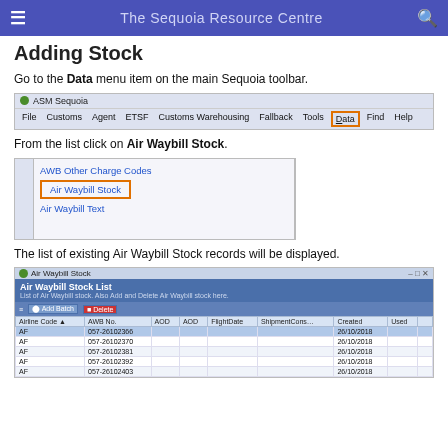The Sequoia Resource Centre
Adding Stock
Go to the Data menu item on the main Sequoia toolbar.
[Figure (screenshot): ASM Sequoia toolbar screenshot showing File, Customs, Agent, ETSF, Customs Warehousing, Fallback, Tools, Data (highlighted in orange box), Find, Help menu items]
From the list click on Air Waybill Stock.
[Figure (screenshot): Dropdown menu showing AWB Other Charge Codes, Air Waybill Stock (highlighted in orange box), Air Waybill Text]
The list of existing Air Waybill Stock records will be displayed.
[Figure (screenshot): Air Waybill Stock List screen showing a table with columns Airline Code, AWB No, AOD, AOD, FlightDate, ShipmentCons..., Created, Used. Rows show AF entries with AWB numbers and dates 26/10/2018]